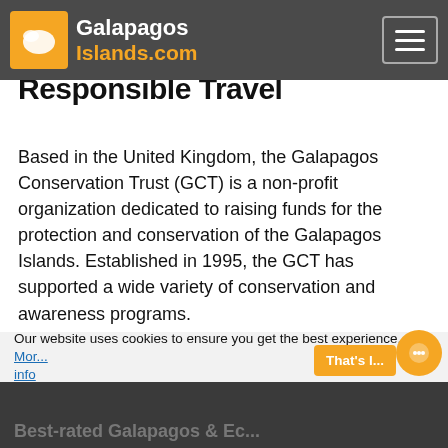Galapagos Islands.com
Responsible Travel
Based in the United Kingdom, the Galapagos Conservation Trust (GCT) is a non-profit organization dedicated to raising funds for the protection and conservation of the Galapagos Islands. Established in 1995, the GCT has supported a wide variety of conservation and awareness programs.
GalapagosIslands.com and Galapagos Travel Center have supported GTC in conservation efforts in the Galapagos Islands.
Our website uses cookies to ensure you get the best experience. More info
Best-rated Galapagos & Ec...